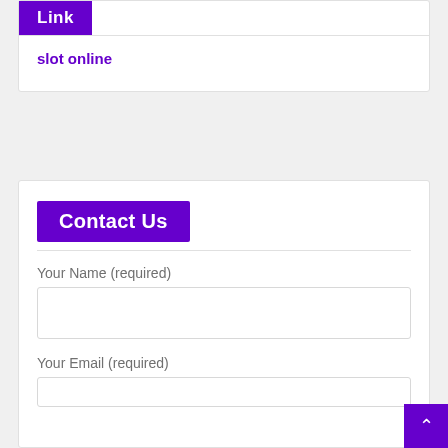Link
slot online
Contact Us
Your Name (required)
Your Email (required)